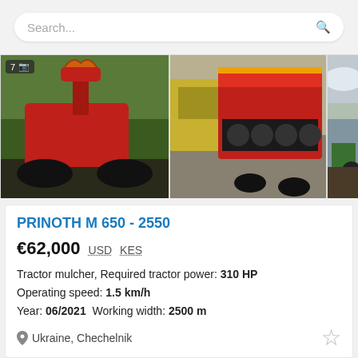Search...
[Figure (photo): Three photos of a PRINOTH M 650-2550 tractor mulcher: left shows red forestry mulcher attachment, center shows red mulching equipment on truck, right shows tractor in field]
PRINOTH M 650 - 2550
€62,000  USD  KES
Tractor mulcher, Required tractor power: 310 HP Operating speed: 1.5 km/h Year: 06/2021  Working width: 2500 m
Ukraine, Chechelnik
[Figure (photo): Two partial photos at bottom: left shows orange forestry equipment, right shows dark machinery detail]